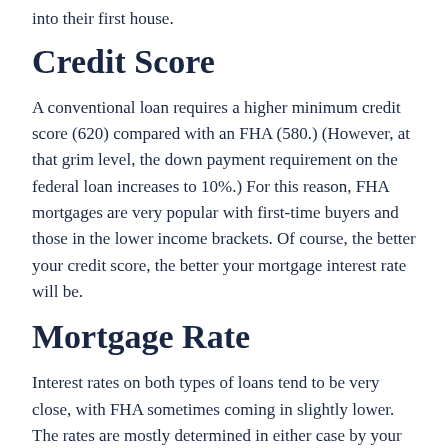into their first house.
Credit Score
A conventional loan requires a higher minimum credit score (620) compared with an FHA (580.) (However, at that grim level, the down payment requirement on the federal loan increases to 10%.) For this reason, FHA mortgages are very popular with first-time buyers and those in the lower income brackets. Of course, the better your credit score, the better your mortgage interest rate will be.
Mortgage Rate
Interest rates on both types of loans tend to be very close, with FHA sometimes coming in slightly lower. The rates are mostly determined in either case by your credit score, down payment, loan-to-value ratio, and your other assets. Rates can also vary from lender to lender.
Mortgage Insurance